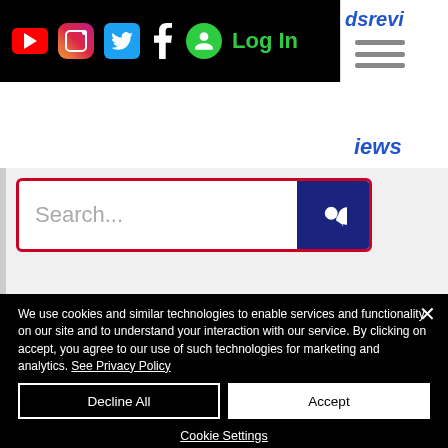[Figure (screenshot): Website navigation bar with social media icons (YouTube, Instagram, Twitter, Facebook), user icon, Log In button on black background, partial site name ending in 'dsrevi']
[Figure (screenshot): Search bar with red border, placeholder text 'Search...' and a dark blue search button with magnifying glass icon]
SubscribeStar: https://www.subscribestar.com/https-www-nomadsreviews-co-uk
We use cookies and similar technologies to enable services and functionality on our site and to understand your interaction with our service. By clicking on accept, you agree to our use of such technologies for marketing and analytics. See Privacy Policy
Decline All
Accept
Cookie Settings